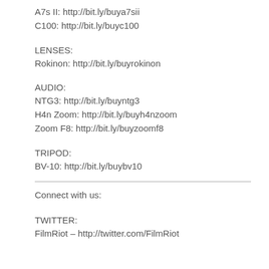A7s II: http://bit.ly/buya7sii
C100: http://bit.ly/buyc100
LENSES:
Rokinon: http://bit.ly/buyrokinon
AUDIO:
NTG3: http://bit.ly/buyntg3
H4n Zoom: http://bit.ly/buyh4nzoom
Zoom F8: http://bit.ly/buyzoomf8
TRIPOD:
BV-10: http://bit.ly/buybv10
Connect with us:
TWITTER:
FilmRiot – http://twitter.com/FilmRiot